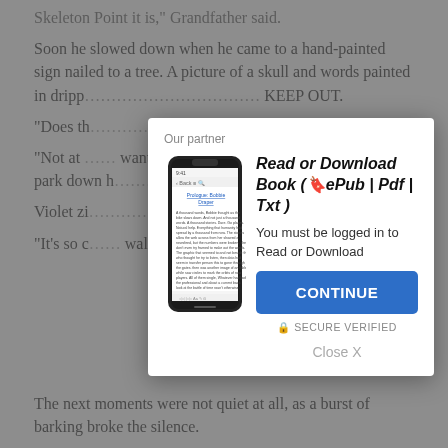Skeleton Point it is," Grandfather said.
Soon he slowed down when he came to a hand-painted sign nailed to a tree. A picture of a skull and words painted in dripp… KEEP OUT.
"Does th…
"Not at … want to take a l… keeps the driv… I'll park down h… ck look around.
Violet zi… Grandfa…
"It's so c… walked…
[Figure (screenshot): Modal dialog overlay on a webpage showing a book download prompt with a phone image, title 'Read or Download Book (🔖ePub | Pdf | Txt)', login prompt, CONTINUE button, SECURE VERIFIED label, and Close X option.]
The next moments were not quiet at all, as a burst of barking broke the silence.